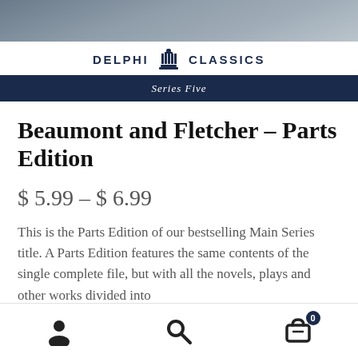[Figure (photo): Dark background header image showing a historical portrait or painting]
DELPHI CLASSICS
Series Five
Beaumont and Fletcher – Parts Edition
$ 5.99 – $ 6.99
This is the Parts Edition of our bestselling Main Series title. A Parts Edition features the same contents of the single complete file, but with all the novels, plays and other works divided into
[Figure (infographic): Bottom navigation bar with user account icon, search icon, and shopping cart icon with badge showing 0]